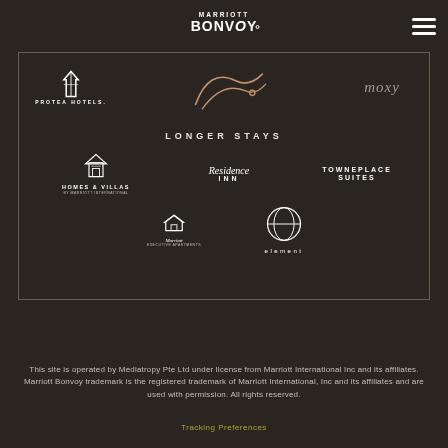[Figure (logo): Marriott Bonvoy logo at top navigation bar]
[Figure (logo): Hamburger menu icon top right]
[Figure (logo): Main bordered box with hotel brand logos including Protea Hotels, Moxy, Homes & Villas, Residence Inn, TownePlace Suites, Marriott Executive Apartments, Element — under LONGER STAYS heading]
This site is operated by Mediatropy Pte Ltd under license from Marriott International Inc and its affiliates. Marriott Bonvoy trademark is the registered trademark of Marriott International, Inc and its affiliates and are used with permission. All rights reserved.
Tracking Preferences